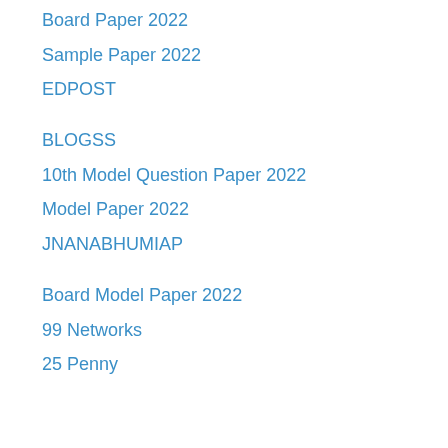Board Paper 2022
Sample Paper 2022
EDPOST
BLOGSS
10th Model Question Paper 2022
Model Paper 2022
JNANABHUMIAP
Board Model Paper 2022
99 Networks
25 Penny